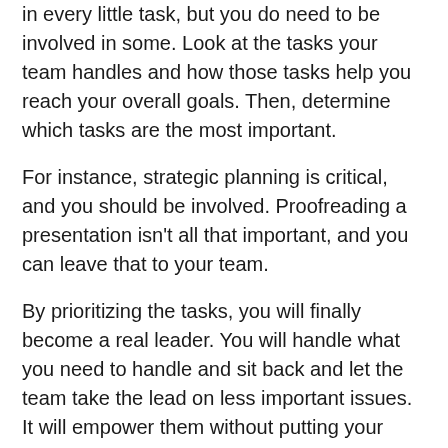in every little task, but you do need to be involved in some. Look at the tasks your team handles and how those tasks help you reach your overall goals. Then, determine which tasks are the most important.
For instance, strategic planning is critical, and you should be involved. Proofreading a presentation isn't all that important, and you can leave that to your team.
By prioritizing the tasks, you will finally become a real leader. You will handle what you need to handle and sit back and let the team take the lead on less important issues. It will empower them without putting your company at risk.
Step 4 – Have a Conversation
You have to let your employees know what